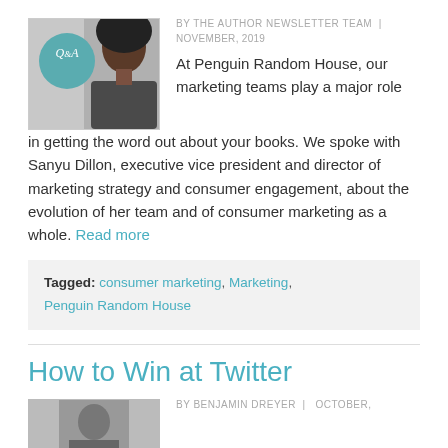[Figure (photo): Photo of a woman with natural hair in a professional setting, with a teal Q&A circle overlay on the left side of the image]
BY THE AUTHOR NEWSLETTER TEAM | NOVEMBER, 2019
At Penguin Random House, our marketing teams play a major role in getting the word out about your books. We spoke with Sanyu Dillon, executive vice president and director of marketing strategy and consumer engagement, about the evolution of her team and of consumer marketing as a whole. Read more
Tagged: consumer marketing, Marketing, Penguin Random House
How to Win at Twitter
[Figure (photo): Partial photo of a person, black and white or muted]
BY BENJAMIN DREYER | OCTOBER,